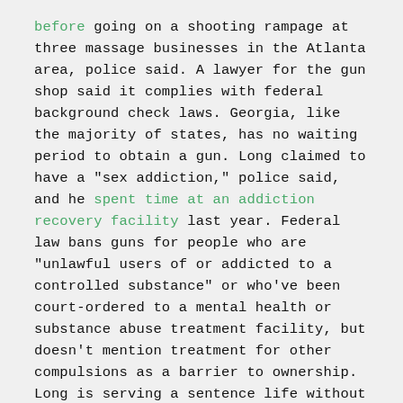before going on a shooting rampage at three massage businesses in the Atlanta area, police said. A lawyer for the gun shop said it complies with federal background check laws. Georgia, like the majority of states, has no waiting period to obtain a gun. Long claimed to have a "sex addiction," police said, and he spent time at an addiction recovery facility last year. Federal law bans guns for people who are "unlawful users of or addicted to a controlled substance" or who've been court-ordered to a mental health or substance abuse treatment facility, but doesn't mention treatment for other compulsions as a barrier to ownership. Long is serving a sentence life without parole.
MIDLAND, TEXAS, AUG. 31, 2019. 7 DEAD.